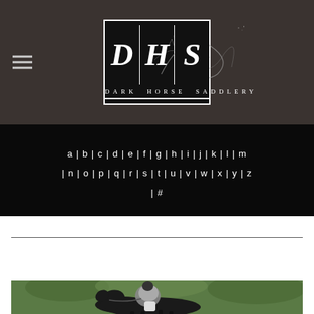[Figure (logo): Dark Horse Saddlery logo: DHS letters in separate bordered cells with decorative swirl, tagline DARK HORSE SADDLERY below]
a | b | c | d | e | f | g | h | i | j | k | l | m | n | o | p | q | r | s | t | u | v | w | x | y | z | #
ENGLISH
[Figure (photo): Equestrian rider on a dark horse jumping, wearing grey jacket and white breeches, with greenery in background]